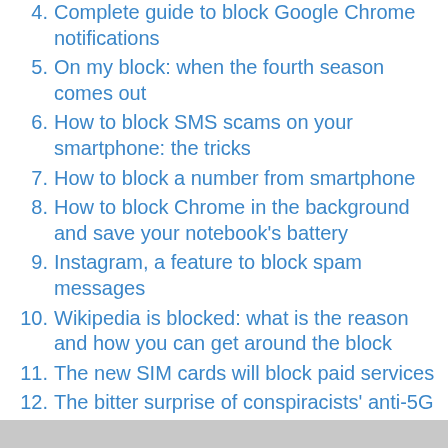4. Complete guide to block Google Chrome notifications
5. On my block: when the fourth season comes out
6. How to block SMS scams on your smartphone: the tricks
7. How to block a number from smartphone
8. How to block Chrome in the background and save your notebook's battery
9. Instagram, a feature to block spam messages
10. Wikipedia is blocked: what is the reason and how you can get around the block
11. The new SIM cards will block paid services
12. The bitter surprise of conspiracists' anti-5G cages: they block wi-fi